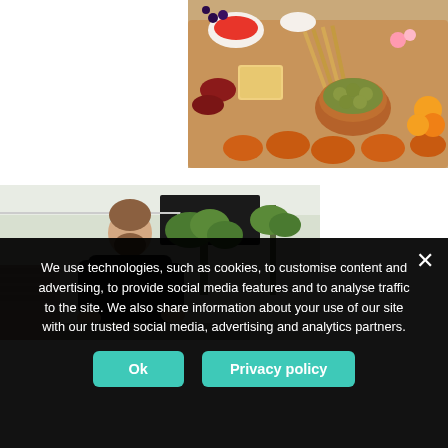[Figure (photo): Overhead photo of a charcuterie/grazing board with olives in a terracotta bowl, pretzels, breadsticks, fruits, meats, cheeses, and various snacks arranged on a wooden board]
[Figure (photo): Photo of a bearded man in a black t-shirt working outdoors under a white canopy, with green plants and a dark shopfront sign in the background]
We use technologies, such as cookies, to customise content and advertising, to provide social media features and to analyse traffic to the site. We also share information about your use of our site with our trusted social media, advertising and analytics partners.
Ok
Privacy policy